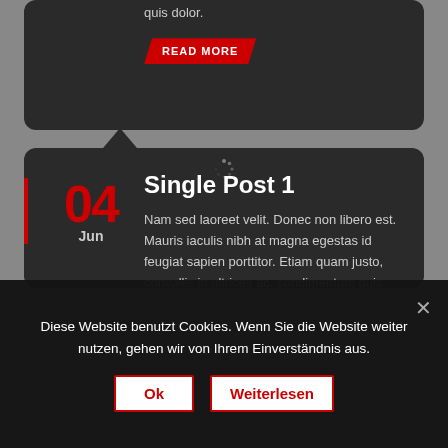quis dolor.
Read More
Single Post 1
Nam sed laoreet velit. Donec non libero est. Mauris iaculis nibh at magna egestas id feugiat sapien porttitor. Etiam quam justo, convallis in ultrices ac, condimentum quis dolor.
Read More
Diese Website benutzt Cookies. Wenn Sie die Website weiter nutzen, gehen wir von Ihrem Einverständnis aus.
Ok
Weiterlesen